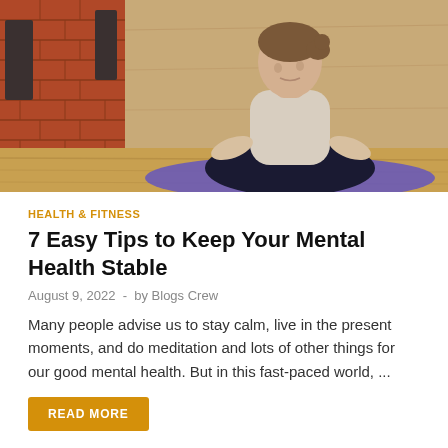[Figure (photo): Woman sitting in lotus yoga meditation pose on a purple mat in a room with brick walls and wooden floor]
HEALTH & FITNESS
7 Easy Tips to Keep Your Mental Health Stable
August 9, 2022  -  by Blogs Crew
Many people advise us to stay calm, live in the present moments, and do meditation and lots of other things for our good mental health. But in this fast-paced world, ...
READ MORE